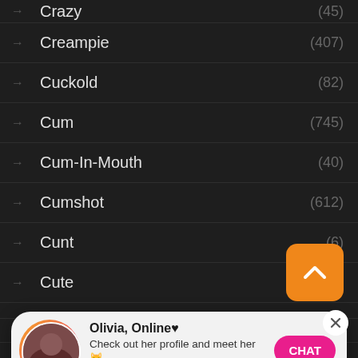Crazy (45)
Creampie (407)
Cuckold (82)
Cum (745)
Cum-In-Mouth (40)
Cumshot (612)
Cunt (6)
Cute
Czech
[Figure (other): Orange scroll-to-top button with upward chevron arrow]
[Figure (other): Notification popup: Olivia, Online with heart, profile photo, message 'Check out her profile and meet her', time 05:54, pink CHAT button]
Dad (32)